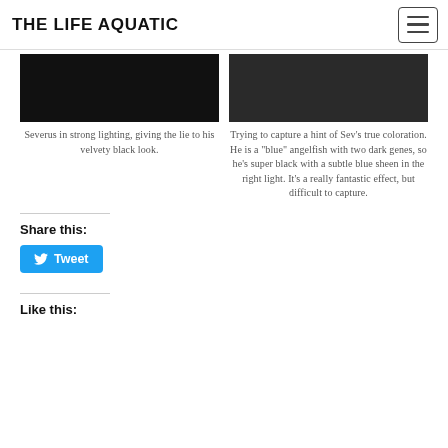THE LIFE AQUATIC
[Figure (photo): Photo of Severus in strong lighting (dark fish)]
Severus in strong lighting, giving the lie to his velvety black look.
[Figure (photo): Photo attempting to capture Sev's true coloration]
Trying to capture a hint of Sev’s true coloration. He is a “blue” angelfish with two dark genes, so he’s super black with a subtle blue sheen in the right light. It’s a really fantastic effect, but difficult to capture.
Share this:
Tweet
Like this: